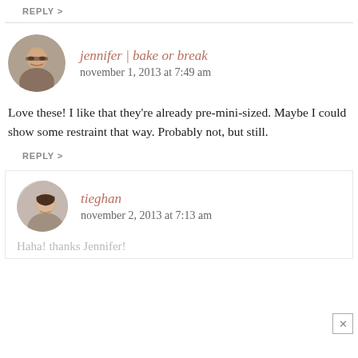REPLY >
[Figure (photo): Circular avatar photo of jennifer, a woman with dark hair and glasses, smiling]
jennifer | bake or break
november 1, 2013 at 7:49 am
Love these! I like that they're already pre-mini-sized. Maybe I could show some restraint that way. Probably not, but still.
REPLY >
[Figure (photo): Circular avatar photo of tieghan, a woman leaning over]
tieghan
november 2, 2013 at 7:13 am
Haha! thanks Jennifer!